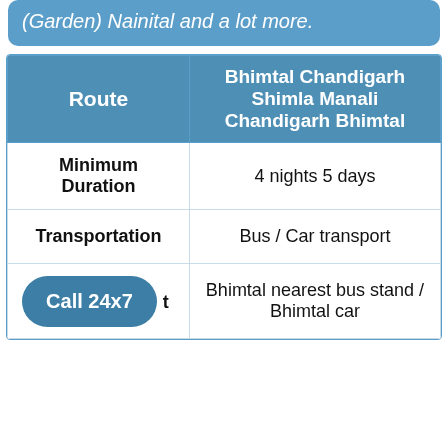(Garden) Nainital and a lot more.
| Route | Bhimtal Chandigarh Shimla Manali Chandigarh Bhimtal |
| --- | --- |
| Minimum Duration | 4 nights 5 days |
| Transportation | Bus / Car transport |
| [Call 24x7] ...t | Bhimtal nearest bus stand / Bhimtal car |